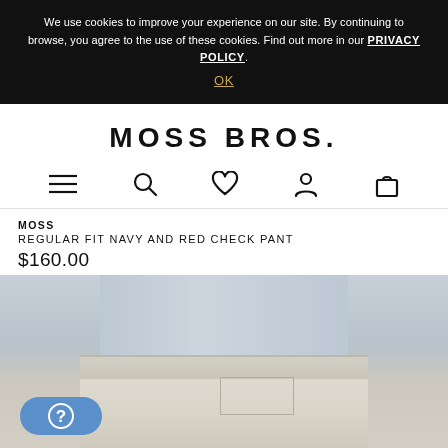We use cookies to improve your experience on our site. By continuing to browse, you agree to the use of these cookies. Find out more in our PRIVACY POLICY.
OK
MOSS BROS.
[Figure (infographic): Navigation icons: hamburger menu, search magnifier, heart/wishlist, person/account, shopping bag]
MOSS
REGULAR FIT NAVY AND RED CHECK PANT
$160.00
[Figure (photo): Model wearing a light blue linen shirt and beige/cream check trousers, showing the waistband and trouser detail with a pocket tab.]